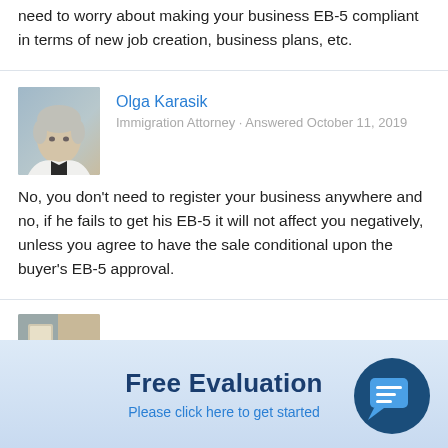need to worry about making your business EB-5 compliant in terms of new job creation, business plans, etc.
[Figure (photo): Portrait photo of Olga Karasik, a woman with short light hair wearing a white jacket]
Olga Karasik
Immigration Attorney · Answered October 11, 2019
No, you don't need to register your business anywhere and no, if he fails to get his EB-5 it will not affect you negatively, unless you agree to have the sale conditional upon the buyer's EB-5 approval.
[Figure (photo): Partially visible portrait photo of another person at the bottom of the page]
Free Evaluation
Please click here to get started